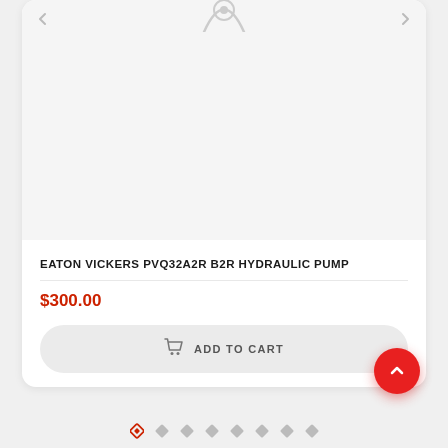[Figure (photo): Product image area showing partial pump icon at top, light gray background with navigation arrows]
EATON VICKERS PVQ32A2R B2R HYDRAULIC PUMP
$300.00
ADD TO CART